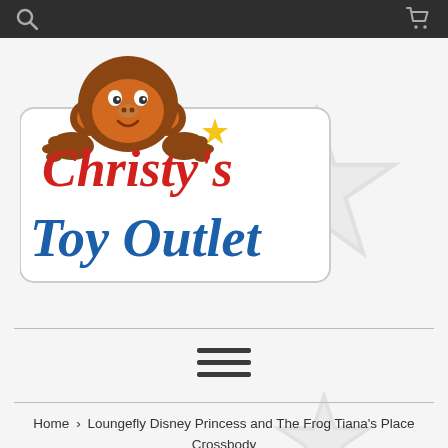Christy's Toy Outlet — website header with search and cart icons
[Figure (logo): Christy's Toy Outlet logo: a cartoon monkey peeking over a white rounded rectangle sign with 'Christy's' in red italic and 'Toy Outlet' in blue italic, with a yellow star accent]
Home › Loungefly Disney Princess and The Frog Tiana's Place Crossbody